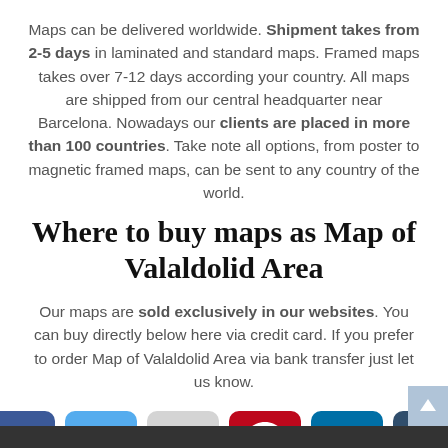Maps can be delivered worldwide. Shipment takes from 2-5 days in laminated and standard maps. Framed maps takes over 7-12 days according your country. All maps are shipped from our central headquarter near Barcelona. Nowadays our clients are placed in more than 100 countries. Take note all options, from poster to magnetic framed maps, can be sent to any country of the world.
Where to buy maps as Map of Valaldolid Area
Our maps are sold exclusively in our websites. You can buy directly below here via credit card. If you prefer to order Map of Valaldolid Area via bank transfer just let us know.
[Figure (other): Social media icons: Facebook, Twitter, Reddit, Pinterest, LinkedIn, Tumblr]